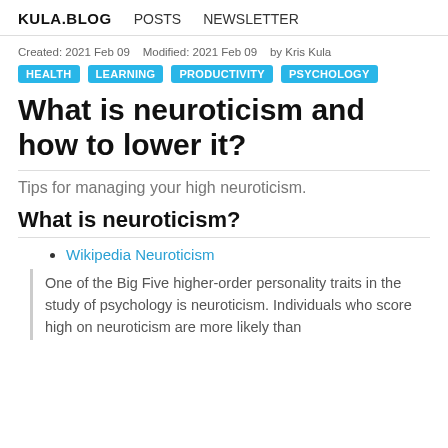KULA.BLOG   POSTS   NEWSLETTER
Created: 2021 Feb 09   Modified: 2021 Feb 09   by Kris Kula
HEALTH   LEARNING   PRODUCTIVITY   PSYCHOLOGY
What is neuroticism and how to lower it?
Tips for managing your high neuroticism.
What is neuroticism?
Wikipedia Neuroticism
One of the Big Five higher-order personality traits in the study of psychology is neuroticism. Individuals who score high on neuroticism are more likely than